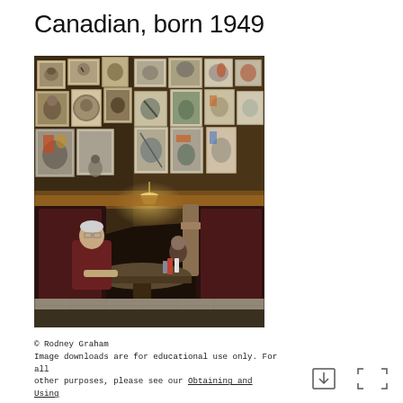Canadian, born 1949
[Figure (photo): A person seated alone at a restaurant booth table with a pendant lamp overhead. The walls behind are covered densely with framed artworks — colorful abstract paintings and drawings. A coat hangs on a hook on the booth divider. The overall scene is dimly lit with warm tones.]
© Rodney Graham
Image downloads are for educational use only. For all other purposes, please see our Obtaining and Using